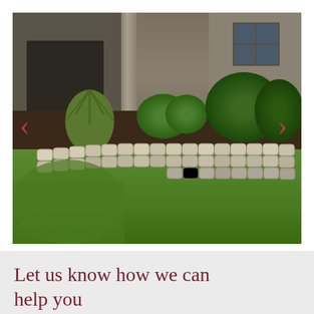[Figure (photo): Photograph of a residential front yard featuring a curved retaining wall made of light-colored stone blocks, lush green grass lawn in the foreground, planted shrubs and mulch beds behind the wall, and a house with a column and window visible in the background. Navigation arrows (< >) are overlaid on the left and right sides of the image, indicating a slideshow carousel.]
Let us know how we can help you